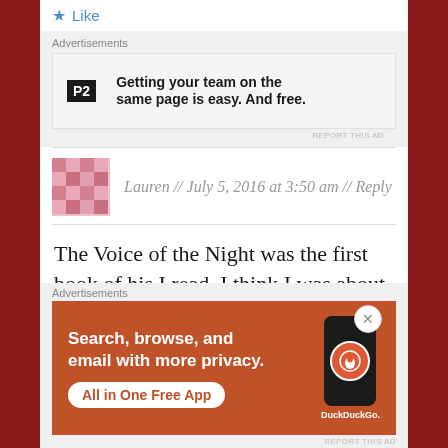Like
Advertisements
[Figure (screenshot): P2 advertisement banner: Getting your team on the same page is easy. And free.]
REPORT THIS AD
Lauren // July 5, 2016 at 3:50 am // Reply
The Voice of the Night was the first book of his I read. I think I was about 12 or 13, from then on I was hooked and refused to read anything by anyone else. Strangers is still
Advertisements
[Figure (screenshot): DuckDuckGo advertisement: Search, browse, and email with more privacy. All in One Free App.]